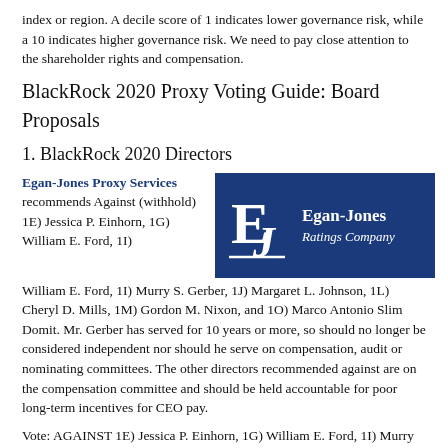index or region. A decile score of 1 indicates lower governance risk, while a 10 indicates higher governance risk. We need to pay close attention to the shareholder rights and compensation.
BlackRock 2020 Proxy Voting Guide: Board Proposals
1. BlackRock 2020 Directors
Egan-Jones Proxy Services recommends Against (withhold) 1E) Jessica P. Einhorn, 1G) William E. Ford, 1I) Murry S. Gerber, 1J) Margaret L. Johnson, 1L) Cheryl D. Mills, 1M) Gordon M. Nixon, and 1O) Marco Antonio Slim Domit. Mr. Gerber has served for 10 years or more, so should no longer be considered independent nor should he serve on compensation, audit or nominating committees. The other directors recommended against are on the compensation committee and should be held accountable for poor long-term incentives for CEO pay.
[Figure (logo): Egan-Jones Ratings Company logo — blue background with stylized 'EJ' monogram on left and 'Egan-Jones Ratings Company' text on right in white]
Vote: AGAINST 1E) Jessica P. Einhorn, 1G) William E. Ford, 1I) Murry S. Gerber, 1J) Margaret L. Johnson, 1L) Cheryl D. Mills, 1M) Gordon M.